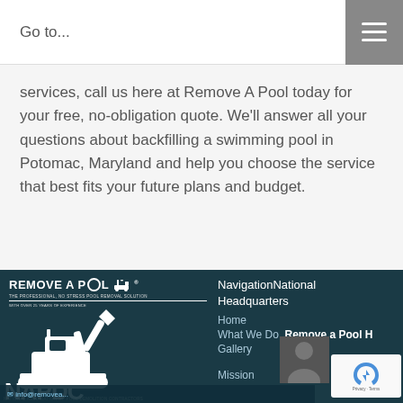Go to...
services, call us here at Remove A Pool today for your free, no-obligation quote. We'll answer all your questions about backfilling a swimming pool in Potomac, Maryland and help you choose the service that best fits your future plans and budget.
[Figure (logo): Remove A Pool logo with excavator/NAPDC branding on dark teal footer background]
NavigationNational Headquarters
Home
What We Do
Remove a Pool HQ
Gallery
Mission
info@removea...